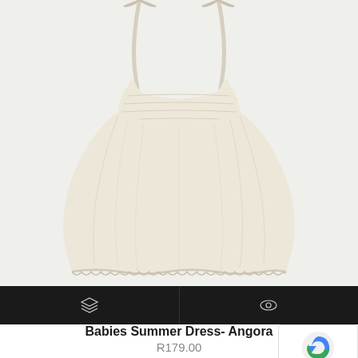[Figure (photo): A cream/ivory colored baby summer dress with thin spaghetti straps tied at the shoulders, gathered bodice with smocking detail, full skirt with lace trim at the hem, photographed flat on a white background.]
Babies Summer Dress- Angora
R179.00